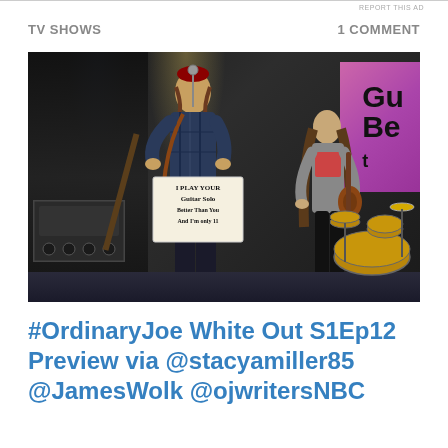REPORT THIS AD
TV SHOWS
1 COMMENT
[Figure (photo): Concert stage photo showing a male performer with a beard holding a sign reading 'I PLAY YOUR GUITAR SOLO BETTER THAN YOU AND I'M ONLY 11' at a microphone stand, with a young girl playing guitar to his right on stage. A pink/purple banner partially visible on right side reads 'Gu Be'. Drum kit visible in background right.]
#OrdinaryJoe White Out S1Ep12 Preview via @stacyamiller85 @JamesWolk @ojwritersNBC